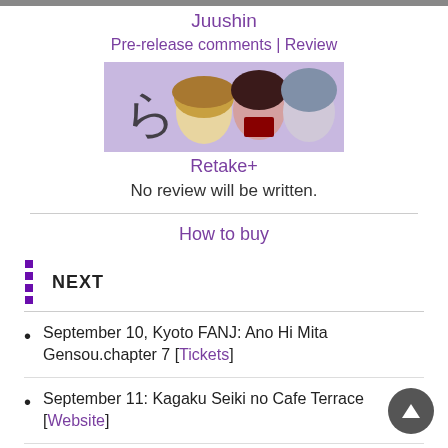Juushin
Pre-release comments | Review
[Figure (illustration): Anime-style illustration showing characters from Retake+]
Retake+
No review will be written.
How to buy
NEXT
September 10, Kyoto FANJ: Ano Hi Mita Gensou.chapter 7 [Tickets]
September 11: Kagaku Seiki no Cafe Terrace [Website]